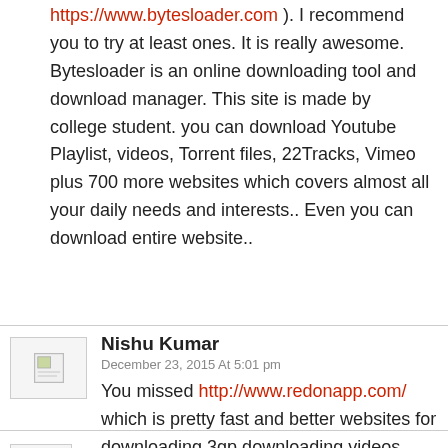https://www.bytesloader.com ). I recommend you to try at least ones. It is really awesome. Bytesloader is an online downloading tool and download manager. This site is made by college student. you can download Youtube Playlist, videos, Torrent files, 22Tracks, Vimeo plus 700 more websites which covers almost all your daily needs and interests.. Even you can download entire website..
Nishu Kumar
December 23, 2015 At 5:01 pm
You missed http://www.redonapp.com/ which is pretty fast and better websites for downloading 3gp downloading videos.
Hashimkhan